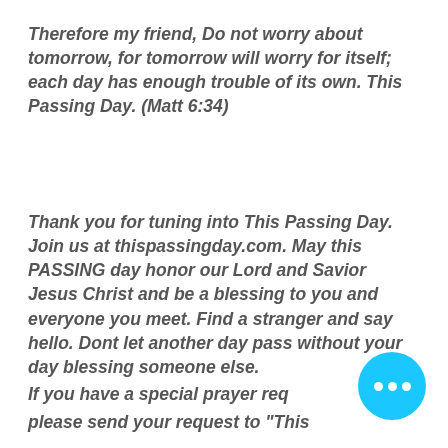Therefore my friend, Do not worry about tomorrow, for tomorrow will worry for itself; each day has enough trouble of its own. This Passing Day. (Matt 6:34)
Thank you for tuning into This Passing Day. Join us at thispassingday.com. May this PASSING day honor our Lord and Savior Jesus Christ and be a blessing to you and everyone you meet. Find a stranger and say hello. Dont let another day pass without your day blessing someone else.
If you have a special prayer req... please send your request to "This